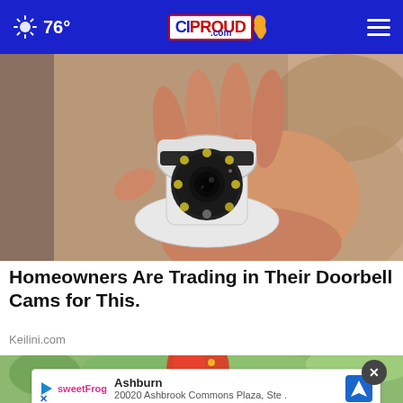76° CIProud.com
[Figure (photo): A hand holding a small white PTZ security camera with a black lens ring and multiple LED lights around the lens, shot against a blurred indoor background.]
Homeowners Are Trading in Their Doorbell Cams for This.
Keilini.com
[Figure (photo): Partial view of a colorful outdoor scene with red and green decorative elements and foliage, with an ad overlay showing a Sweet Frog frozen yogurt location at 20020 Ashbrook Commons Plaza, Ste., Ashburn.]